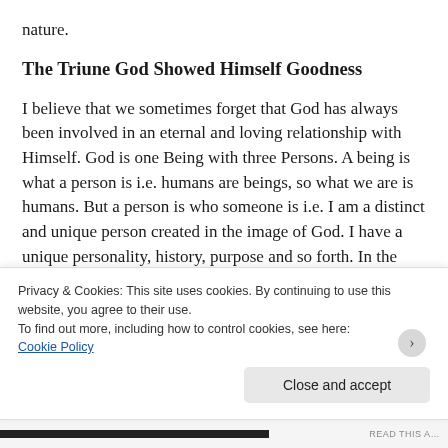nature.
The Triune God Showed Himself Goodness
I believe that we sometimes forget that God has always been involved in an eternal and loving relationship with Himself. God is one Being with three Persons. A being is what a person is i.e. humans are beings, so what we are is humans. But a person is who someone is i.e. I am a distinct and unique person created in the image of God. I have a unique personality, history, purpose and so forth. In the same way, God exists as one perfect Being comprised
Privacy & Cookies: This site uses cookies. By continuing to use this website, you agree to their use.
To find out more, including how to control cookies, see here:
Cookie Policy
Close and accept